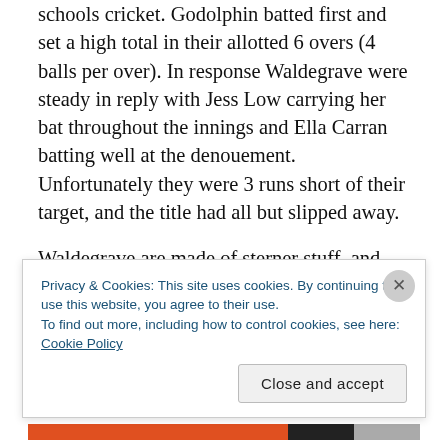schools cricket. Godolphin batted first and set a high total in their allotted 6 overs (4 balls per over). In response Waldegrave were steady in reply with Jess Low carrying her bat throughout the innings and Ella Carran batting well at the denouement. Unfortunately they were 3 runs short of their target, and the title had all but slipped away.
Waldegrave are made of sterner stuff, and they
Privacy & Cookies: This site uses cookies. By continuing to use this website, you agree to their use.
To find out more, including how to control cookies, see here: Cookie Policy
Close and accept